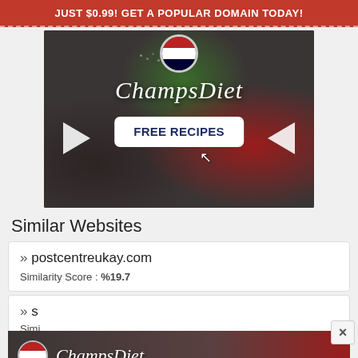JUST $0.99! GET A POPULAR DOMAIN TODAY!
[Figure (photo): ChampsDiet promotional banner with food background (tomatoes, pasta, cheese, herbs), ChampsDiet cursive logo, USA flag badge, and FREE RECIPES button with arrows]
Similar Websites
» postcentreukay.com
Similarity Score : %19.7
» S...
Simi...
[Figure (photo): Partial ChampsDiet banner overlay at bottom of page]